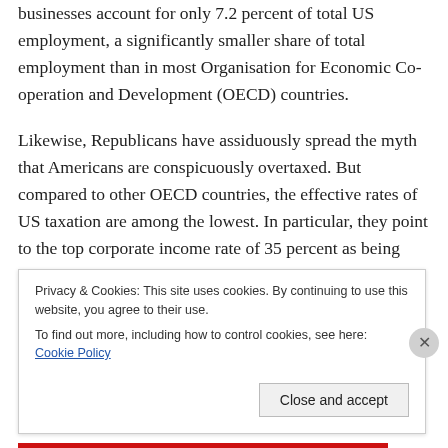businesses account for only 7.2 percent of total US employment, a significantly smaller share of total employment than in most Organisation for Economic Co-operation and Development (OECD) countries.
Likewise, Republicans have assiduously spread the myth that Americans are conspicuously overtaxed. But compared to other OECD countries, the effective rates of US taxation are among the lowest. In particular, they point to the top corporate income rate of 35 percent as being confiscatory Bolshevism. But again, the effective rate is
Privacy & Cookies: This site uses cookies. By continuing to use this website, you agree to their use.
To find out more, including how to control cookies, see here: Cookie Policy